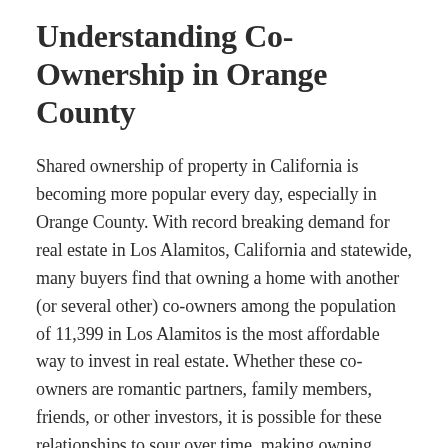Understanding Co-Ownership in Orange County
Shared ownership of property in California is becoming more popular every day, especially in Orange County. With record breaking demand for real estate in Los Alamitos, California and statewide, many buyers find that owning a home with another (or several other) co-owners among the population of 11,399 in Los Alamitos is the most affordable way to invest in real estate. Whether these co-owners are romantic partners, family members, friends, or other investors, it is possible for these relationships to sour over time, making owning shared real estate together unbearable. California allows for what is known as a partition action to force the sale of